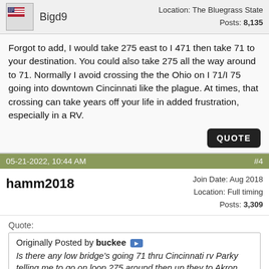Bigd9 | Location: The Bluegrass State | Posts: 8,135
Forgot to add, I would take 275 east to I 471 then take 71 to your destination. You could also take 275 all the way around to 71. Normally I avoid crossing the the Ohio on I 71/I 75 going into downtown Cincinnati like the plague. At times, that crossing can take years off your life in added frustration, especially in a RV.
05-21-2022, 10:44 AM | #4
hamm2018 | Join Date: Aug 2018 | Location: Full timing | Posts: 3,309
Quote:
Originally Posted by buckee
Is there any low bridge's going 71 thru Cincinnati rv Parky telling me to go on loop 275 around then up they to Akron Ohio any thoughts .
No low bridges on I-71 in Cincy. But take the bypass to the east and run it to I 71 north. The Brent Spence can/does get backed up